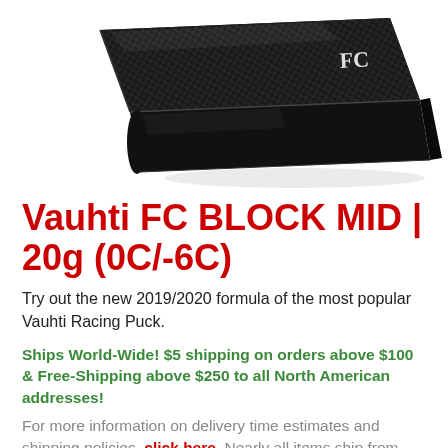[Figure (photo): Photo of a black carbon fiber Vauhti FC BLOCK MID wax product box, viewed from a slight angle showing the top and front edge, on a white background.]
Vauhti FC BLOCK MID | 20g (0C/-6C)
Try out the new 2019/2020 formula of the most popular Vauhti Racing Puck.
Ships World-Wide! $5 shipping on orders above $100 & Free-Shipping above $250 to all North American addresses!
For more information on delivery time estimates and shipping policies, click here. Nearly all items ship from